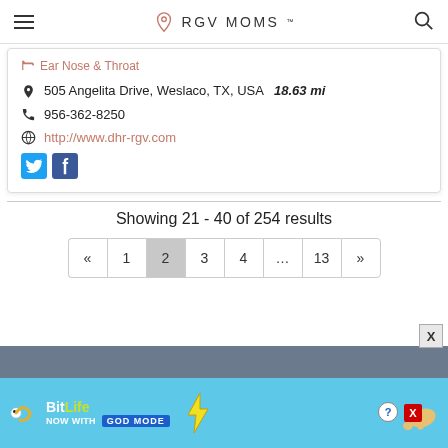RGV MOMS
Ear Nose & Throat
505 Angelita Drive, Weslaco, TX, USA   18.63 mi
956-362-8250
http://www.dhr-rgv.com
Showing 21 - 40 of 254 results
« 1 2 3 4 ... 13 »
[Figure (screenshot): BitLife advertisement banner: NOW WITH GOD MODE]